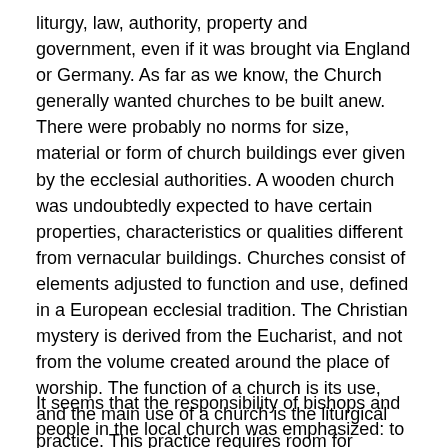liturgy, law, authority, property and government, even if it was brought via England or Germany. As far as we know, the Church generally wanted churches to be built anew. There were probably no norms for size, material or form of church buildings ever given by the ecclesial authorities. A wooden church was undoubtedly expected to have certain properties, characteristics or qualities different from vernacular buildings. Churches consist of elements adjusted to function and use, defined in a European ecclesial tradition. The Christian mystery is derived from the Eucharist, and not from the volume created around the place of worship. The function of a church is its use, and the main use of a church is the liturgical practice. This practice requires room for movement and action. The Divine Service was not centred on a cult object and did not need a special altar.
It seems that the responsibility of bishops and people in the local church was emphasized: to build in the